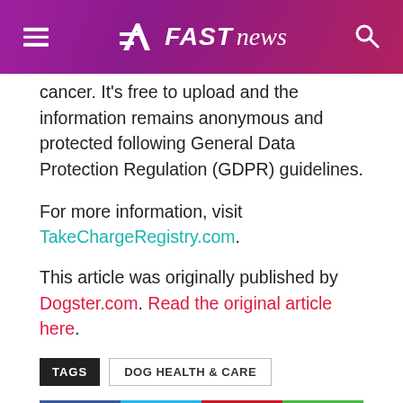FAST news
cancer. It's free to upload and the information remains anonymous and protected following General Data Protection Regulation (GDPR) guidelines.

For more information, visit TakeChargeRegistry.com.

This article was originally published by Dogster.com. Read the original article here.
TAGS  DOG HEALTH & CARE
[Figure (other): Social sharing buttons: Facebook (blue), Twitter (cyan), Pinterest (red), WhatsApp (green)]